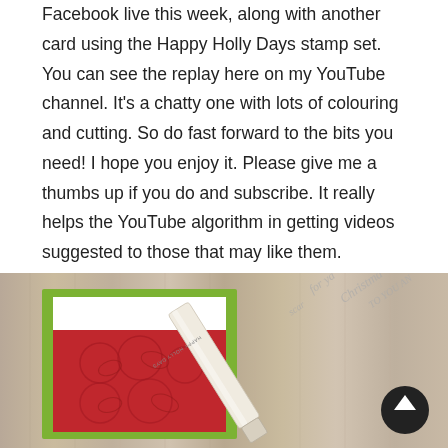Facebook live this week, along with another card using the Happy Holly Days stamp set. You can see the replay here on my YouTube channel. It's a chatty one with lots of colouring and cutting. So do fast forward to the bits you need! I hope you enjoy it. Please give me a thumbs up if you do and subscribe. It really helps the YouTube algorithm in getting videos suggested to those that may like them.
[Figure (photo): Photo showing Christmas cards on a wooden surface. One card has a green border with a red panel featuring an embossed holly design. A white pen/stamp with 'Happy Holly Days' text is visible, along with script text reading 'for you', 'Christmas to you' in the background. A dark scroll-to-top button is visible in the bottom right corner.]